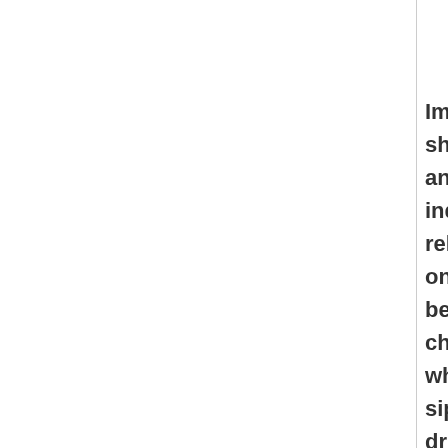[Figure (illustration): Smiley face emoticon relaxing on a beach chair while sipping a drink, with SHERV.NET watermark below]
Image shows an individual relaxing on a beach chair while sipping a drink.
» Added on 10 February, 2014     »  Filename: relaxing-outside-smiley-emoticon.gif        »  File size: 41019 bytes      »  Rated 4.30 from 10 votes      »  44 frames measuring